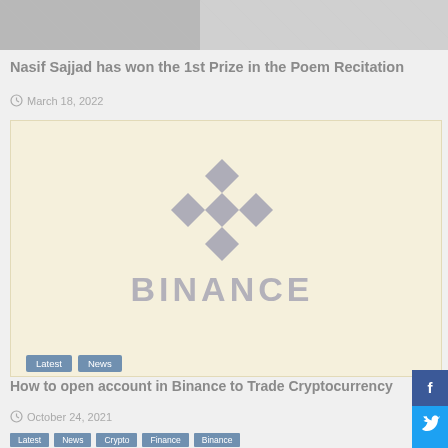[Figure (photo): Partially visible top image, grayscale/light colored]
Nasif Sajjad has won the 1st Prize in the Poem Recitation
March 18, 2022
[Figure (logo): Binance advertisement with logo and wordmark on cream/beige background]
How to open account in Binance to Trade Cryptocurrency
October 24, 2021